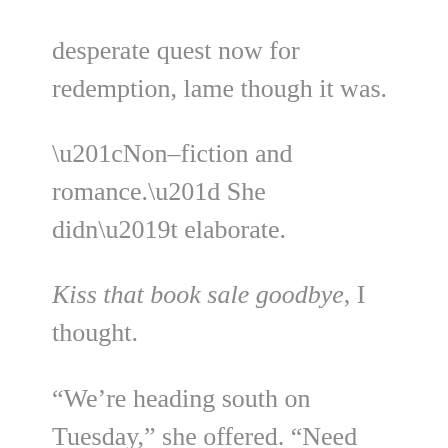desperate quest now for redemption, lame though it was.
“Non-fiction and romance.” She didn’t elaborate.
Kiss that book sale goodbye, I thought.
“We’re heading south on Tuesday,” she offered. “Need some reading material… some good reading material.